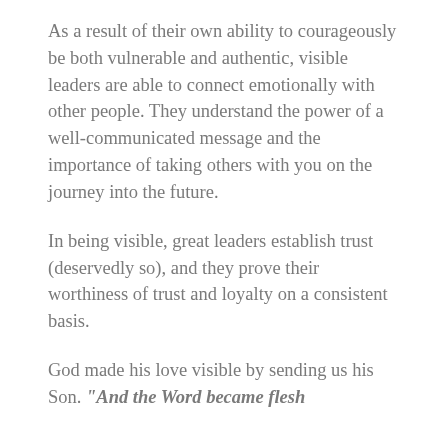As a result of their own ability to courageously be both vulnerable and authentic, visible leaders are able to connect emotionally with other people. They understand the power of a well-communicated message and the importance of taking others with you on the journey into the future.
In being visible, great leaders establish trust (deservedly so), and they prove their worthiness of trust and loyalty on a consistent basis.
God made his love visible by sending us his Son. “And the Word became flesh